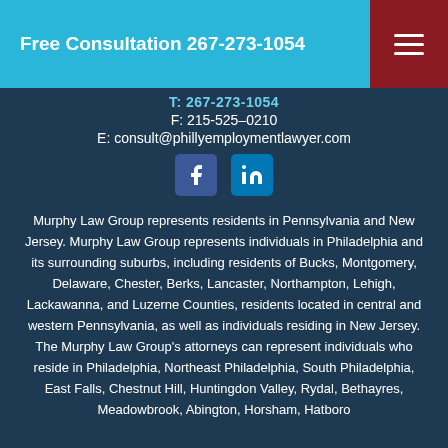Free Consultation 267-273-1054
T: 267-273-1054
F: 215-525–0210
E: consult@phillyemploymentlawyer.com
[Figure (illustration): Facebook and LinkedIn social media icons]
Murphy Law Group represents residents in Pennsylvania and New Jersey. Murphy Law Group represents individuals in Philadelphia and its surrounding suburbs, including residents of Bucks, Montgomery, Delaware, Chester, Berks, Lancaster, Northampton, Lehigh, Lackawanna, and Luzerne Counties, residents located in central and western Pennsylvania, as well as individuals residing in New Jersey. The Murphy Law Group's attorneys can represent individuals who reside in Philadelphia, Northeast Philadelphia, South Philadelphia, East Falls, Chestnut Hill, Huntingdon Valley, Rydal, Bethayres, Meadowbrook, Abington, Horsham, Hatboro